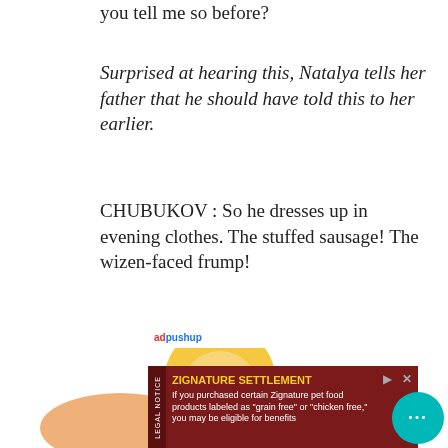you tell me so before?
Surprised at hearing this, Natalya tells her father that he should have told this to her earlier.
CHUBUKOV : So he dresses up in evening clothes. The stuffed sausage! The wizen-faced frump!
He further calls Lomov names and expresses displeasure on seeing his audacity to come there in the evening dress.
[Figure (illustration): Partial cartoon illustration of a blonde person at the bottom of the page, with an advertisement overlay for Zignature Settlement legal notice and a chat bubble icon.]